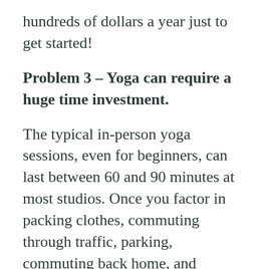hundreds of dollars a year just to get started!
Problem 3 – Yoga can require a huge time investment.
The typical in-person yoga sessions, even for beginners, can last between 60 and 90 minutes at most studios. Once you factor in packing clothes, commuting through traffic, parking, commuting back home, and showering – whew, you've just invested several hours of time.